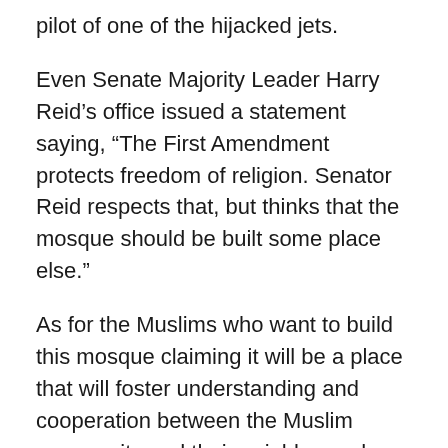pilot of one of the hijacked jets.
Even Senate Majority Leader Harry Reid’s office issued a statement saying, “The First Amendment protects freedom of religion. Senator Reid respects that, but thinks that the mosque should be built some place else.”
As for the Muslims who want to build this mosque claiming it will be a place that will foster understanding and cooperation between the Muslim community and their neighbors – here is an idea toward that goal; show a little sensitivity… build somewhere else!
I’ll stop here even though I could go on with questions about the theory that this is a “victory mosque” or question the credibility and motives of Imam Feisal Abdul Rauf, the man behind the effort to build this mosque. However, none of that is the point… but more on that soon, better yet…